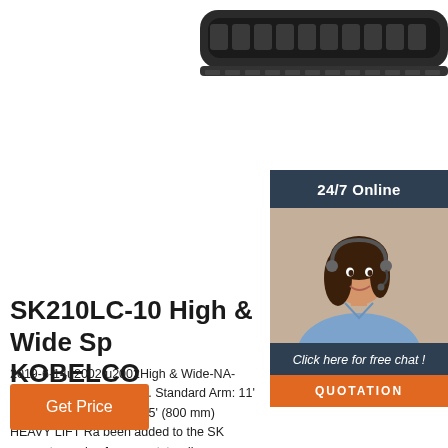[Figure (photo): Partial image of a heavy excavator track/undercarriage, dark gray, shown at top of page]
[Figure (photo): 24/7 Online support widget with a woman wearing a headset smiling, with 'Click here for free chat!' text and an orange QUOTATION button]
SK210LC-10 High & Wide Sp KOBELCO Excavator
2019-6-14u2002·u2002High & Wide-NA-303-1 Rating over front ... Standard Arm: 11' 4' (3.45 bucket Shoe: 31.5' (800 mm) HEAVY LIFT Ra been added to the SK excavator series famou outstanding productivity and extremely low fue consumption.
Get Price